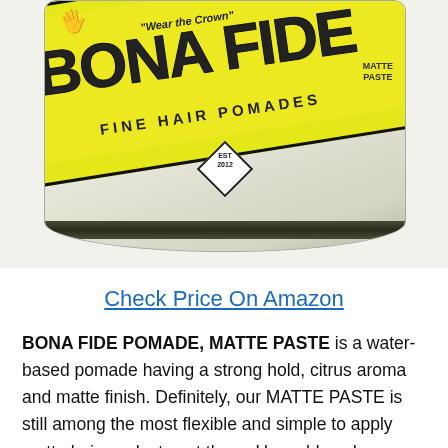[Figure (photo): Bona Fide Fine Hair Pomades Matte Paste product container/tin, showing yellow diagonal band with brand name, EST 2012 diamond badge, white background, dark rim at bottom]
Check Price On Amazon
BONA FIDE POMADE, MATTE PASTE is a water-based pomade having a strong hold, citrus aroma and matte finish. Definitely, our MATTE PASTE is still among the most flexible and simple to apply matte hair products out there. Use a blow dryer using the item to reach an